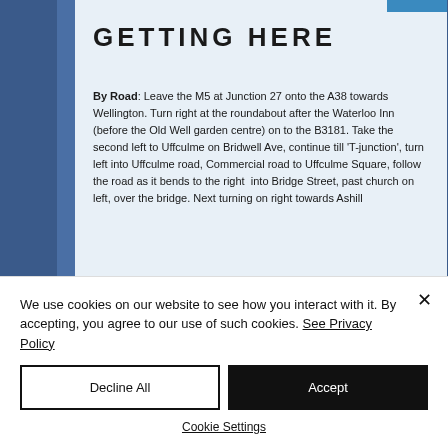GETTING HERE
By Road: Leave the M5 at Junction 27 onto the A38 towards Wellington. Turn right at the roundabout after the Waterloo Inn (before the Old Well garden centre) on to the B3181. Take the second left to Uffculme on Bridwell Ave, continue till 'T-junction', turn left into Uffculme road, Commercial road to Uffculme Square, follow the road as it bends to the right into Bridge Street, past church on left, over the bridge. Next turning on right towards Ashill
We use cookies on our website to see how you interact with it. By accepting, you agree to our use of such cookies. See Privacy Policy
Decline All
Accept
Cookie Settings